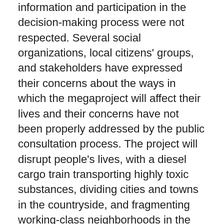information and participation in the decision-making process were not respected. Several social organizations, local citizens' groups, and stakeholders have expressed their concerns about the ways in which the megaproject will affect their lives and their concerns have not been properly addressed by the public consultation process. The project will disrupt people's lives, with a diesel cargo train transporting highly toxic substances, dividing cities and towns in the countryside, and fragmenting working-class neighborhoods in the country's capital. Furthermore, the contract includes requirements for reduction of labor rights and influences in educational policy. The latest version of the contract allows UPM to withdraw by only giving only a one-year notice and without providing justification and without material consequences. There is no planet B, we cannot afford to continue promoting economic projects and practices that consider